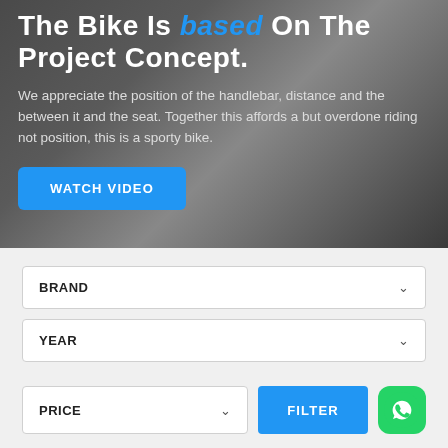The Bike Is based On The Project Concept.
We appreciate the position of the handlebar, distance and the between it and the seat. Together this affords a but overdone riding not position, this is a sporty bike.
WATCH VIDEO
BRAND
YEAR
PRICE
FILTER